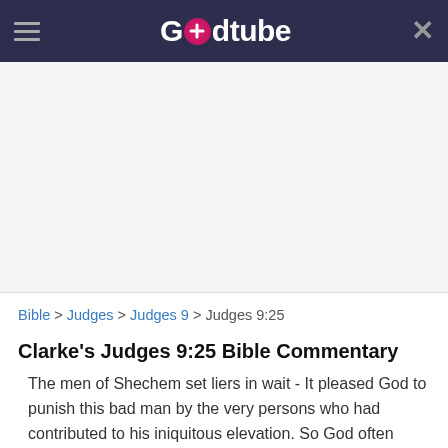Godtube
[Figure (other): Advertisement banner area (blank/white)]
Bible > Judges > Judges 9 > Judges 9:25
Clarke's Judges 9:25 Bible Commentary
The men of Shechem set liers in wait - It pleased God to punish this bad man by the very persons who had contributed to his iniquitous elevation. So God often makes the instruments of men's sins the means of their